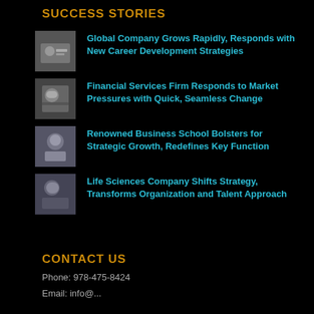SUCCESS STORIES
Global Company Grows Rapidly, Responds with New Career Development Strategies
Financial Services Firm Responds to Market Pressures with Quick, Seamless Change
Renowned Business School Bolsters for Strategic Growth, Redefines Key Function
Life Sciences Company Shifts Strategy, Transforms Organization and Talent Approach
CONTACT US
Phone: 978-475-8424
Email: info@...